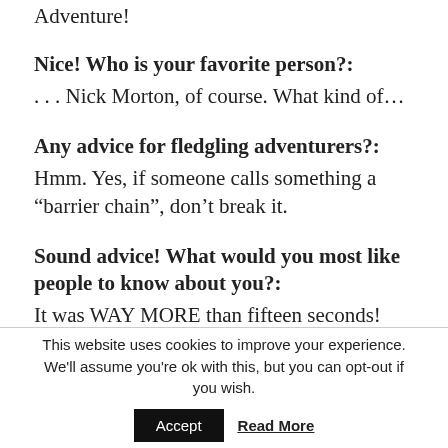Adventure!
Nice! Who is your favorite person?:
. . . Nick Morton, of course. What kind of...
Any advice for fledgling adventurers?:
Hmm. Yes, if someone calls something a “barrier chain”, don’t break it.
Sound advice! What would you most like people to know about you?:
It was WAY MORE than fifteen seconds!
This website uses cookies to improve your experience. We'll assume you're ok with this, but you can opt-out if you wish.  Accept  Read More